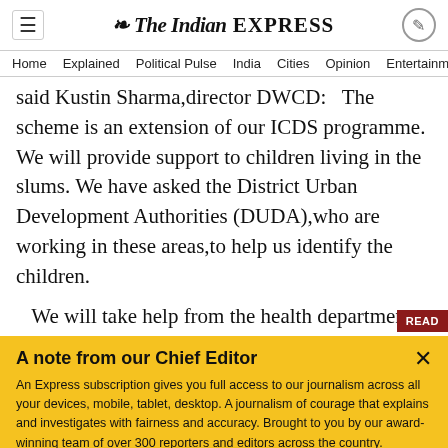The Indian EXPRESS — navigation header with Home, Explained, Political Pulse, India, Cities, Opinion, Entertainment
said Kustin Sharma,director DWCD:  The scheme is an extension of our ICDS programme. We will provide support to children living in the slums. We have asked the District Urban Development Authorities (DUDA),who are working in these areas,to help us identify the children.
We will take help from the health department...
A note from our Chief Editor
An Express subscription gives you full access to our journalism across all your devices, mobile, tablet, desktop. A journalism of courage that explains and investigates with fairness and accuracy. Brought to you by our award-winning team of over 300 reporters and editors across the country. Including a team of top domain experts who explain news as it breaks, columnists who